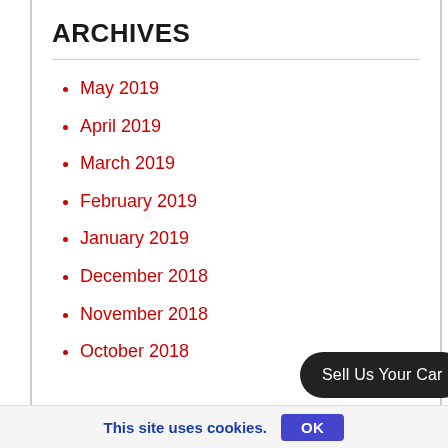ARCHIVES
May 2019
April 2019
March 2019
February 2019
January 2019
December 2018
November 2018
October 2018
[Figure (screenshot): Floating action bar with 'Sell Us Your Car' pill button and two dark circular icon buttons (chat and form icons)]
This site uses cookies. OK